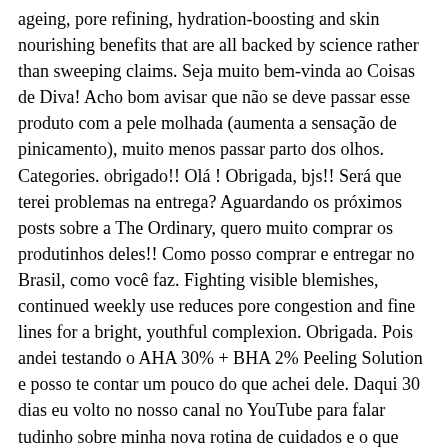ageing, pore refining, hydration-boosting and skin nourishing benefits that are all backed by science rather than sweeping claims. Seja muito bem-vinda ao Coisas de Diva! Acho bom avisar que não se deve passar esse produto com a pele molhada (aumenta a sensação de pinicamento), muito menos passar parto dos olhos. Categories. obrigado!! Olá ! Obrigada, bjs!! Será que terei problemas na entrega? Aguardando os próximos posts sobre a The Ordinary, quero muito comprar os produtinhos deles!! Como posso comprar e entregar no Brasil, como você faz. Fighting visible blemishes, continued weekly use reduces pore congestion and fine lines for a bright, youthful complexion. Obrigada. Pois andei testando o AHA 30% + BHA 2% Peeling Solution e posso te contar um pouco do que achei dele. Daqui 30 dias eu volto no nosso canal no YouTube para falar tudinho sobre minha nova rotina de cuidados e o que achei do uso prolongado desse peeling. São coisas diferentes, mas apena sum médico poderá dizer se pode usar os dois juntos. Sa o que a marca promete no quesito anti-idade? Achei super 10… mas como minha pele é mega sensível, acho que pra mim não rola!!! R$. The Ordinary Hyaluronic Acid 2% +B5 SUPERSIZE 60ml, The Ordinary 100% Organic Cold-Pressed Borage Seed Oil, The Ordinary 100% Organic Virgin Sea-Buckthorn Fruit Oil, The Ordinary Ethylated Ascorbic Acid 15% Solution, The Ordinary Caffeine Solution 5% + EGCG 30ml, The Ordinary Multi - Peptide Serum for Hair Density, The Ordinary 100% Cold Pressed Virgin Marula Oil, The Ordinary 100%